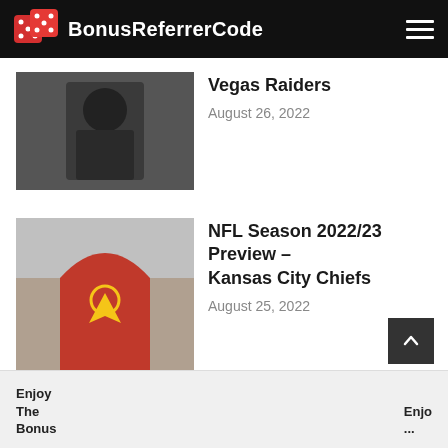BonusReferrerCode
Vegas Raiders
August 26, 2022
NFL Season 2022/23 Preview – Kansas City Chiefs
August 25, 2022
Enjoy The Bonus ... Enjo...